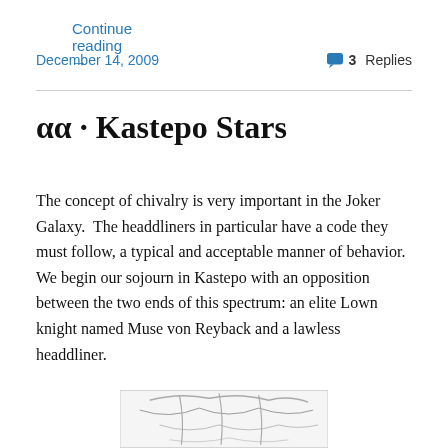Continue reading →
December 14, 2009   💬 3 Replies
αα · Kastepo Stars
The concept of chivalry is very important in the Joker Galaxy.  The headdliners in particular have a code they must follow, a typical and acceptable manner of behavior.  We begin our sojourn in Kastepo with an opposition between the two ends of this spectrum: an elite Lown knight named Muse von Reyback and a lawless headdliner.
[Figure (illustration): Partial illustration visible at bottom of page, black and white manga/comic style drawing]